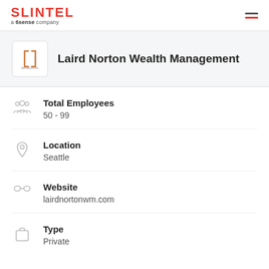SLINTEL a 6sense company
Laird Norton Wealth Management
Total Employees
50 - 99
Location
Seattle
Website
lairdnortonwm.com
Type
Private